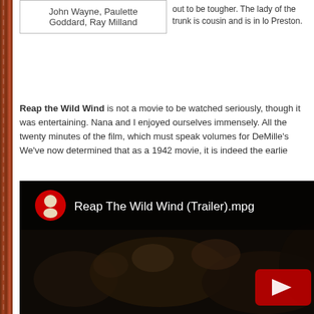| John Wayne, Paulette Goddard, Ray Milland | out to be tougher. The lady of the trunk is cousin and is in love Preston. |
Reap the Wild Wind is not a movie to be watched seriously, though it was entertaining. Nana and I enjoyed ourselves immensely. All the twenty minutes of the film, which must speak volumes for DeMille's We've now determined that as a 1942 movie, it is indeed the earlie…
[Figure (screenshot): YouTube video thumbnail for 'Reap The Wild Wind (Trailer).mpg' showing a dark crowd scene still with a red play button in the lower right corner and the YouTube logo with a face icon in the upper left.]